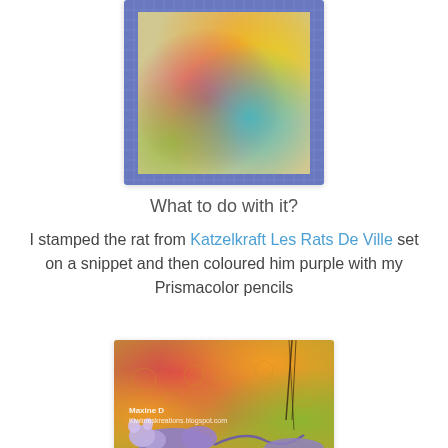[Figure (photo): A colorful watercolor background snippet on a blue grid/checkered border. Colors are orange, yellow, red/pink, and teal/blue blended together.]
What to do with it?
I stamped the rat from Katzelkraft Les Rats De Ville set on a snippet and then coloured him purple with my Prismacolor pencils
[Figure (photo): A crafted card showing a purple rat stamped on a colorful watercolor background (orange, red, green). Watermark text reads 'Maxine D Kiwimeskreations.blogspot.com'.]